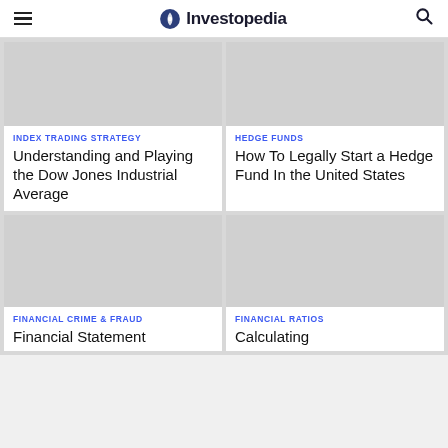Investopedia
[Figure (photo): Placeholder image for Index Trading Strategy article]
INDEX TRADING STRATEGY
Understanding and Playing the Dow Jones Industrial Average
[Figure (photo): Placeholder image for Hedge Funds article]
HEDGE FUNDS
How To Legally Start a Hedge Fund In the United States
[Figure (photo): Placeholder image for Financial Crime & Fraud article]
FINANCIAL CRIME & FRAUD
Financial Statement
[Figure (photo): Placeholder image for Financial Ratios article]
FINANCIAL RATIOS
Calculating